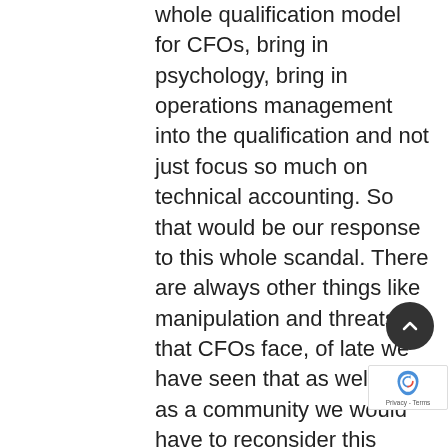whole qualification model for CFOs, bring in psychology, bring in operations management into the qualification and not just focus so much on technical accounting. So that would be our response to this whole scandal. There are always other things like manipulation and threats that CFOs face, of late we have seen that as well. So as a community we would have to reconsider this thing and see how we can strengthen and safeguard our CFOs.
CIARAN RYAN: Teboho, just following on from that, there are certain things that you're not going to learn in the classroom, I would imagine, this is a